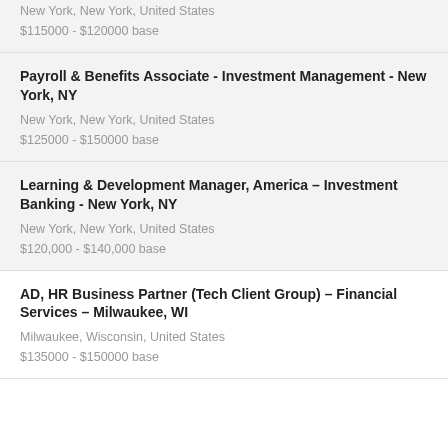New York, New York, United States
$115000 - $120000 base
Payroll & Benefits Associate - Investment Management - New York, NY
New York, New York, United States
$125000 - $150000 base
Learning & Development Manager, America – Investment Banking - New York, NY
New York, New York, United States
$120,000 - $140,000 base
AD, HR Business Partner (Tech Client Group) – Financial Services – Milwaukee, WI
Milwaukee, Wisconsin, United States
$135000 - $150000 base